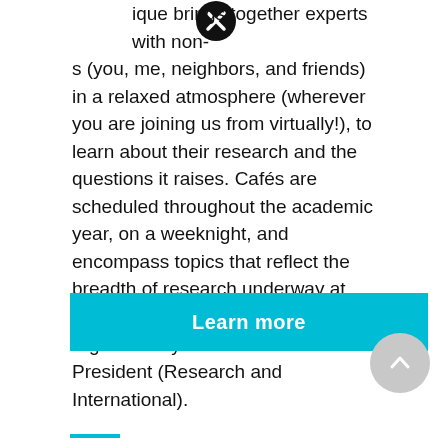[Figure (illustration): Close/X button icon, dark circle with X mark, top center of page]
ique brings together experts with non-s (you, me, neighbors, and friends) in a relaxed atmosphere (wherever you are joining us from virtually!), to learn about their research and the questions it raises. Cafés are scheduled throughout the academic year, on a weeknight, and encompass topics that reflect the breadth of research underway at the UM. They are hosted and organized by the Office of the Vice-President (Research and International).
[Figure (illustration): Teal/cyan Learn more button]
Learn more
[Figure (illustration): Grey circular scroll-to-top button with upward arrow, bottom right]
[Figure (illustration): Teal horizontal line, bottom left area]